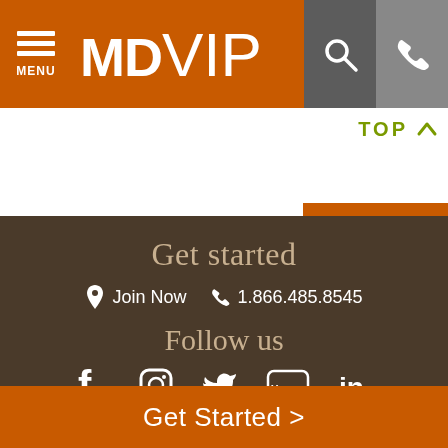MDVIP
TOP
Get started
Join Now   1.866.485.8545
Follow us
[Figure (infographic): Social media icons: Facebook, Instagram, Twitter, YouTube, LinkedIn]
Our mission is to provide life-changing, personalized
Get Started >